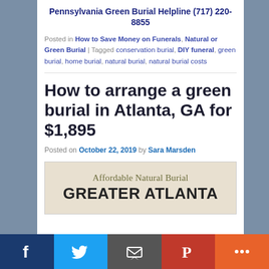Pennsylvania Green Burial Helpline (717) 220-8855
Posted in How to Save Money on Funerals, Natural or Green Burial | Tagged conservation burial, DIY funeral, green burial, home burial, natural burial, natural burial costs
How to arrange a green burial in Atlanta, GA for $1,895
Posted on October 22, 2019 by Sara Marsden
[Figure (infographic): Cream-colored infographic panel with text: 'Affordable Natural Burial' and 'GREATER ATLANTA']
Social share bar: Facebook, Twitter, Email, Pinterest, More